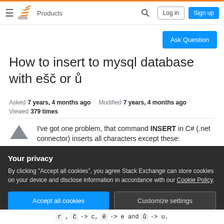≡ [Stack Overflow logo] Products 🔍 Log in Sign up
Ask Question
How to insert to mysql database with ešč or ů
Asked 7 years, 4 months ago   Modified 7 years, 4 months ago   Viewed 379 times
I've got one problem, that command INSERT in C# (.net connector) inserts all characters except these:
Your privacy
By clicking "Accept all cookies", you agree Stack Exchange can store cookies on your device and disclose information in accordance with our Cookie Policy.
Accept all cookies   Customize settings
r, č -> c, ě -> e and ů -> u.